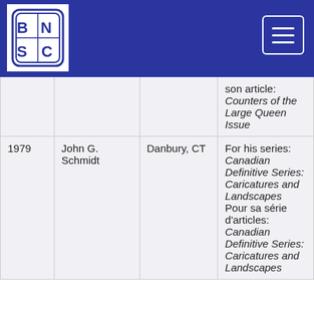BNAPS logo and navigation header
| Year | Name | City | Description |
| --- | --- | --- | --- |
|  |  |  | son article: Counters of the Large Queen Issue |
| 1979 | John G. Schmidt | Danbury, CT | For his series: Canadian Definitive Series: Caricatures and Landscapes Pour sa série d'articles: Canadian Definitive Series: Caricatures and Landscapes |